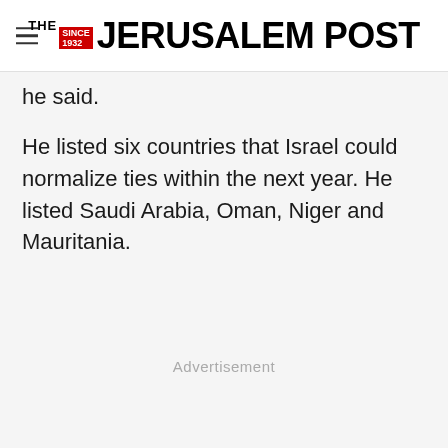THE JERUSALEM POST
he said.
He listed six countries that Israel could normalize ties within the next year. He listed Saudi Arabia, Oman, Niger and  Mauritania.
Advertisement